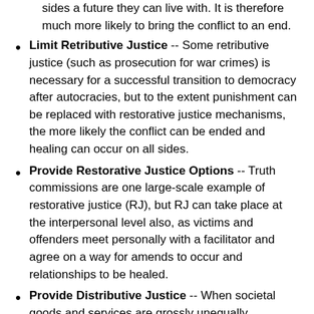sides a future they can live with. It is therefore much more likely to bring the conflict to an end.
Limit Retributive Justice -- Some retributive justice (such as prosecution for war crimes) is necessary for a successful transition to democracy after autocracies, but to the extent punishment can be replaced with restorative justice mechanisms, the more likely the conflict can be ended and healing can occur on all sides.
Provide Restorative Justice Options -- Truth commissions are one large-scale example of restorative justice (RJ), but RJ can take place at the interpersonal level also, as victims and offenders meet personally with a facilitator and agree on a way for amends to occur and relationships to be healed.
Provide Distributive Justice -- When societal goods and services are grossly unequally distributed, conflict is likely to ensue. Determining